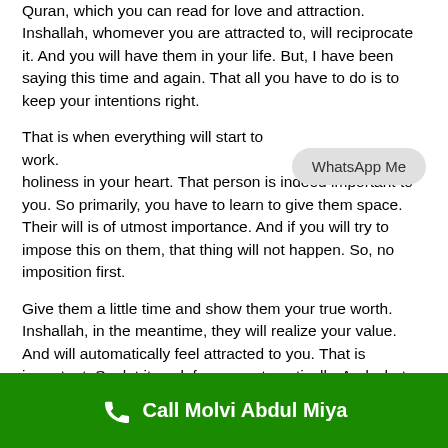Quran, which you can read for love and attraction. Inshallah, whomever you are attracted to, will reciprocate it. And you will have them in your life. But, I have been saying this time and again. That all you have to do is to keep your intentions right.
That is when everything will start to work. holiness in your heart. That person is indeed important to you. So primarily, you have to learn to give them space. Their will is of utmost importance. And if you will try to impose this on them, that thing will not happen. So, no imposition first.
Give them a little time and show them your true worth. Inshallah, in the meantime, they will realize your value. And will automatically feel attracted to you. That is important. So, let it work for you automatically. And what you can't do, Allah is there to do that. Inshallah, it will happen with his grace and the blessing.
Procedure For Wazifa For Love And Attraction
Call Molvi Abdul Miya